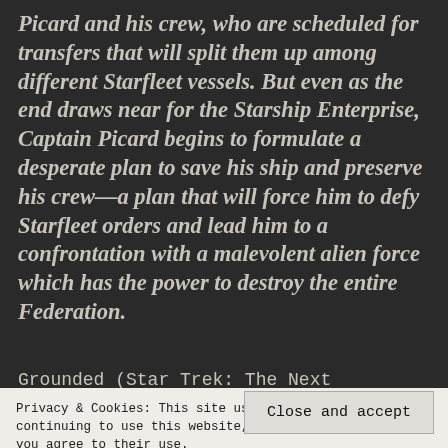Picard and his crew, who are scheduled for transfers that will split them up among different Starfleet vessels. But even as the end draws near for the Starship Enterprise, Captain Picard begins to formulate a desperate plan to save his ship and preserve his crew—a plan that will force him to defy Starfleet orders and lead him to a confrontation with a malevolent alien force which has the power to destroy the entire Federation.
Grounded (Star Trek: The Next Generation #25) by David Bishoff..... Hmmmmm, where to begin with this
Privacy & Cookies: This site uses cookies. By continuing to use this website, you agree to their use.
To find out more, including how to control cookies, see here: Cookie Policy
Close and accept